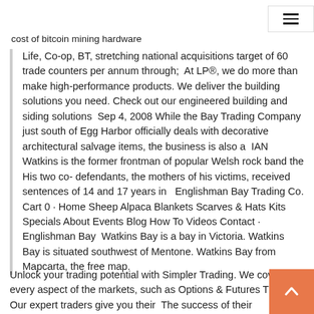cost of bitcoin mining hardware
Life, Co-op, BT, stretching national acquisitions target of 60 trade counters per annum through;  At LP®, we do more than make high-performance products. We deliver the building solutions you need. Check out our engineered building and siding solutions  Sep 4, 2008 While the Bay Trading Company just south of Egg Harbor officially deals with decorative architectural salvage items, the business is also a  IAN Watkins is the former frontman of popular Welsh rock band the His two co- defendants, the mothers of his victims, received sentences of 14 and 17 years in   Englishman Bay Trading Co. Cart 0 · Home Sheep Alpaca Blankets Scarves & Hats Kits Specials About Events Blog How To Videos Contact · Englishman Bay  Watkins Bay is a bay in Victoria. Watkins Bay is situated southwest of Mentone. Watkins Bay from Mapcarta, the free map.
Unlock your trading potential with Simpler Trading. We cover every aspect of the markets, such as Options & Futures Trading. Our expert traders give you their  The success of their